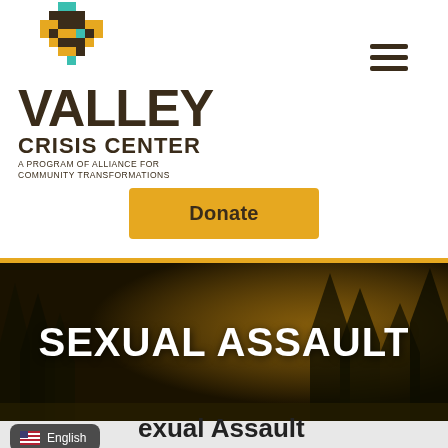[Figure (logo): Valley Crisis Center logo with colorful pixel/geometric diamond icon above text. Text reads: VALLEY CRISIS CENTER, A PROGRAM OF ALLIANCE FOR COMMUNITY TRANSFORMATIONS]
[Figure (infographic): Hamburger menu icon (three horizontal lines) in top right corner]
[Figure (infographic): Orange/gold Donate button centered below logo]
SEXUAL ASSAULT
Sexual Assault
[Figure (infographic): English language selector pill with US flag emoji]